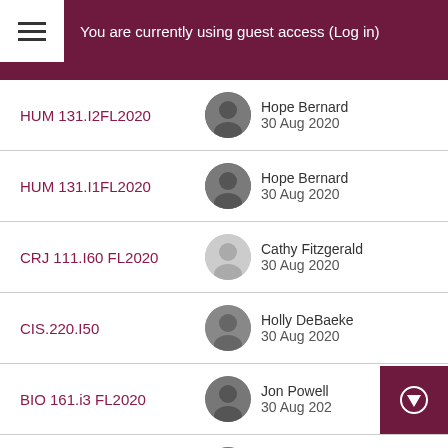You are currently using guest access (Log in)
HUM 131.I2FL2020 | Hope Bernard | 30 Aug 2020
HUM 131.I1FL2020 | Hope Bernard | 30 Aug 2020
CRJ 111.I60 FL2020 | Cathy Fitzgerald | 30 Aug 2020
CIS.220.I50 | Holly DeBaeke | 30 Aug 2020
BIO 161.i3 FL2020 | Jon Powell | 30 Aug 2020
BIO 161.i5 FL2020 | Jon Powell | 30 Aug 2020